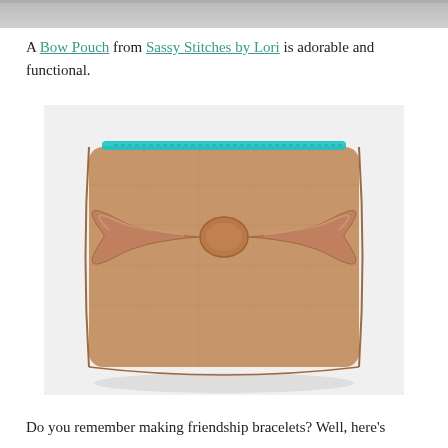[Figure (photo): Top cropped image strip showing a grey/neutral background]
A Bow Pouch from Sassy Stitches by Lori is adorable and functional.
[Figure (photo): A tan/brown linen fabric bow pouch with a teal zipper at the top, featuring a large fabric bow on the front, leaning against a white background]
Do you remember making friendship bracelets?  Well, here's